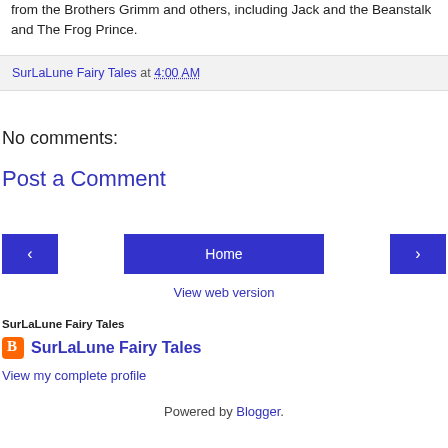from the Brothers Grimm and others, including Jack and the Beanstalk and The Frog Prince.
SurLaLune Fairy Tales at 4:00 AM
No comments:
Post a Comment
Home
View web version
SurLaLune Fairy Tales
SurLaLune Fairy Tales
View my complete profile
Powered by Blogger.